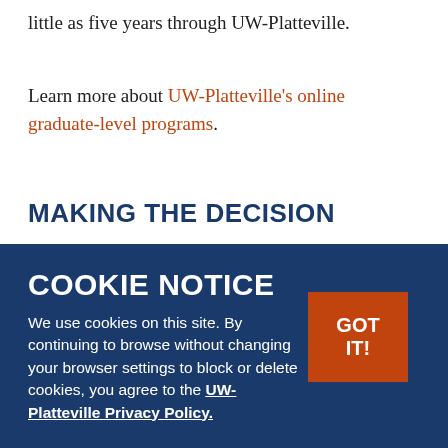little as five years through UW-Platteville.
Learn more about UW-Platteville's online graduate-level programs.
MAKING THE DECISION
Questions to Ask Yourself
What would you like to be doing five to ten years from now, and will graduate study assist you in getting there? Take the time to ask yourself some difficult questions. Think about what you want to learn and accomplish from graduate study, and whether it would be better to go immediately after finishing your undergraduate degree, or waiting two years to get some gift.
COOKIE NOTICE
We use cookies on this site. By continuing to browse without changing your browser settings to block or delete cookies, you agree to the UW-Platteville Privacy Policy.
GOT IT!